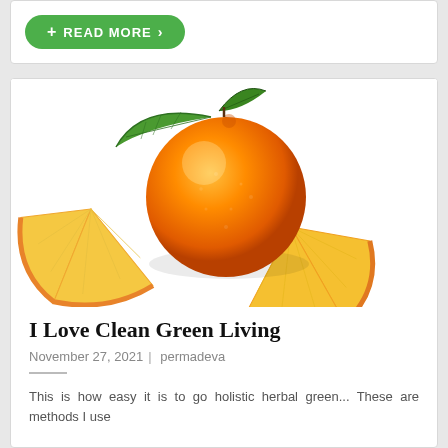[Figure (other): Green READ MORE button with plus sign]
[Figure (photo): A whole orange with green leaf and two orange slices on white background]
I Love Clean Green Living
November 27, 2021 | permadeva
This is how easy it is to go holistic herbal green... These are methods I use...